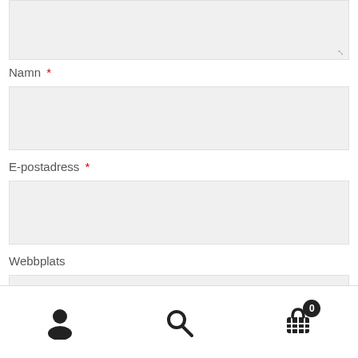[Figure (screenshot): A textarea input box (top portion visible) with a resize handle at bottom right]
Namn *
[Figure (screenshot): A text input box for Namn (name) field]
E-postadress *
[Figure (screenshot): A text input box for E-postadress (email) field]
Webbplats
[Figure (screenshot): A text input box for Webbplats (website) field]
Publicera kommentar
[Figure (screenshot): Bottom navigation bar with user icon, search icon, and cart icon with badge showing 0]